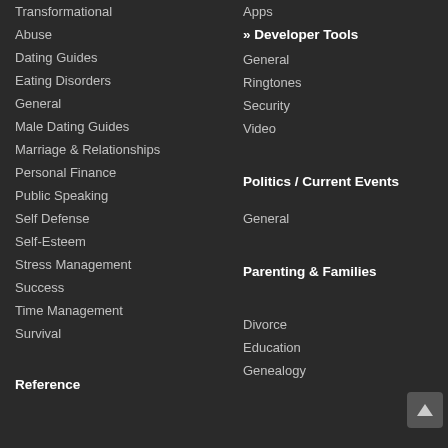Transformational
Abuse
Dating Guides
Eating Disorders
General
Male Dating Guides
Marriage & Relationships
Personal Finance
Public Speaking
Self Defense
Self-Esteem
Stress Management
Success
Time Management
Survival
Reference
Apps
» Developer Tools
General
Ringtones
Security
Video
Politics / Current Events
General
Parenting & Families
Divorce
Education
Genealogy